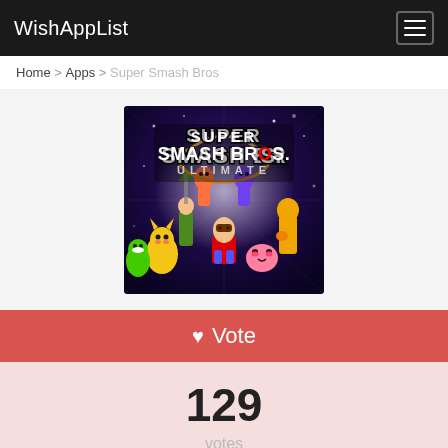WishAppList
Home > Apps > Super Smash Bros
[Figure (photo): Super Smash Bros Ultimate game cover art showing various Nintendo characters including Mario, Pikachu, Kirby, Yoshi, and many others with the game logo.]
♥ Vote
129 votes
Not available